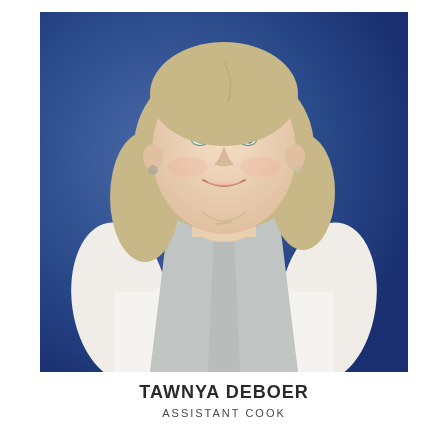[Figure (photo): Professional headshot of Tawnya DeBoer, a woman with blonde/light brown wavy hair, wearing a white t-shirt and gray vest, smiling at the camera against a blue background.]
TAWNYA DEBOER
ASSISTANT COOK